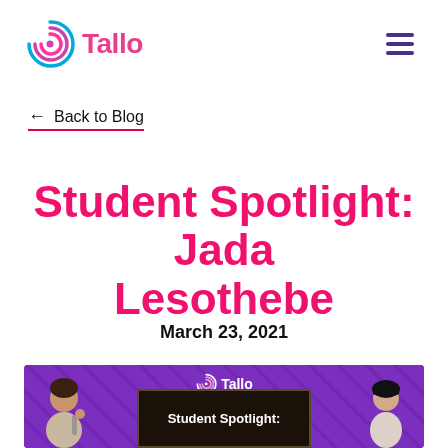Tallo
← Back to Blog
Student Spotlight: Jada Lesothebe
March 23, 2021
[Figure (illustration): Purple promotional banner with Tallo logo at top, a chalkboard sign reading 'Student Spotlight:', two student figures on left and right sides against a purple diagonal-striped background.]